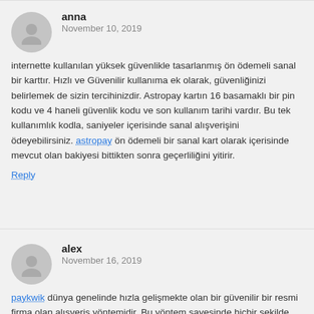anna
November 10, 2019
internette kullanılan yüksek güvenlikle tasarlanmış ön ödemeli sanal bir karttır. Hızlı ve Güvenilir kullanıma ek olarak, güvenliğinizi belirlemek de sizin tercihinizdir. Astropay kartın 16 basamaklı bir pin kodu ve 4 haneli güvenlik kodu ve son kullanım tarihi vardır. Bu tek kullanımlık kodla, saniyeler içerisinde sanal alışverişini ödeyebilirsiniz. astropay ön ödemeli bir sanal kart olarak içerisinde mevcut olan bakiyesi bittikten sonra geçerliliğini yitirir.
Reply
alex
November 16, 2019
paykwik dünya genelinde hızla gelişmekte olan bir güvenilir bir resmi firma olan alışveriş yöntemidir. Bu yöntem sayesinde hiçbir şekilde kişisel bilgilerinizi üçüncü taraf kişilerle paylaşmadan, tamamen gizlilik içerisinde alışveriş yapabilirsiniz. Bu da siz